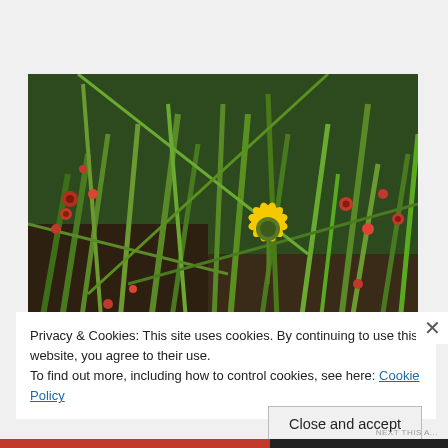Wild Flowers
[Figure (photo): A yellow wildflower in focus against a blurred green grassy background with scattered small red flowers]
Privacy & Cookies: This site uses cookies. By continuing to use this website, you agree to their use.
To find out more, including how to control cookies, see here: Cookie Policy
Close and accept